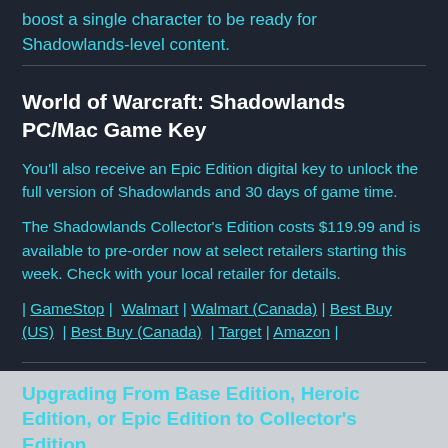boost a single character to be ready for Shadowlands-level content.
World of Warcraft: Shadowlands PC/Mac Game Key
You'll also receive an Epic Edition digital key to unlock the full version of Shadowlands and 30 days of game time.
The Shadowlands Collector's Edition costs $119.99 and is available to pre-order now at select retailers starting this week. Check with your local retailer for details.
| GameStop | Walmart | Walmart (Canada) | Best Buy (US) | Best Buy (Canada) | Target | Amazon |
Upgrading From Base Edition, Heroic Edition, or Epic Edition to Collector's Edition